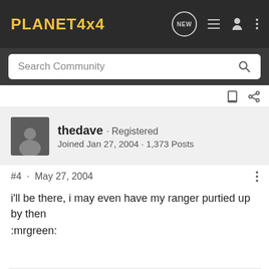PLANET4x4
Search Community
thedave · Registered
Joined Jan 27, 2004 · 1,373 Posts
#4 · May 27, 2004
i'll be there, i may even have my ranger purtied up by then :mrgreen:
We've all heard that a million monkeys banging on a million typewriters will eventually reproduce the entire works of